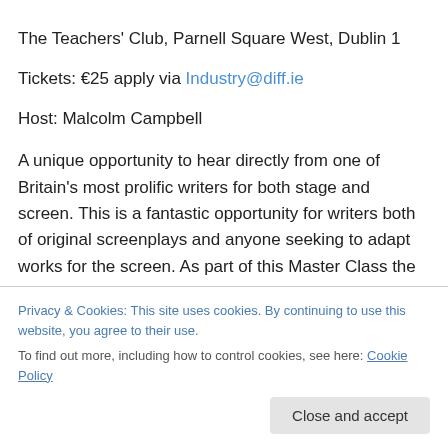The Teachers' Club, Parnell Square West, Dublin 1
Tickets: €25 apply via Industry@diff.ie
Host: Malcolm Campbell
A unique opportunity to hear directly from one of Britain's most prolific writers for both stage and screen. This is a fantastic opportunity for writers both of original screenplays and anyone seeking to adapt works for the screen. As part of this Master Class the components of
Privacy & Cookies: This site uses cookies. By continuing to use this website, you agree to their use.
To find out more, including how to control cookies, see here: Cookie Policy
Close and accept